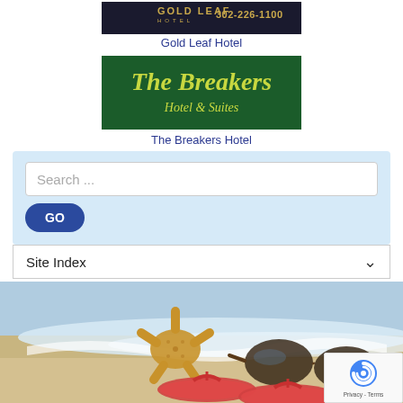[Figure (logo): Gold Leaf Hotel logo — dark navy background with gold text showing 'GOLD LEAF HOTEL' and phone number '302-226-1100']
Gold Leaf Hotel
[Figure (logo): The Breakers Hotel & Suites logo — dark green background with yellow-green italic script text]
The Breakers Hotel
[Figure (screenshot): Search bar with placeholder text 'Search ...' and a blue GO button, on a light blue background]
[Figure (screenshot): Site Index dropdown bar with chevron arrow]
[Figure (photo): Beach photo showing red flip-flops, a starfish, and sunglasses on sandy beach with ocean waves in background]
[Figure (other): reCAPTCHA badge with Google reCAPTCHA logo and Privacy - Terms text]